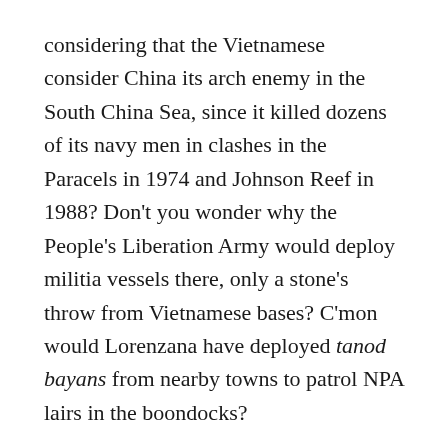considering that the Vietnamese consider China its arch enemy in the South China Sea, since it killed dozens of its navy men in clashes in the Paracels in 1974 and Johnson Reef in 1988? Don't you wonder why the People's Liberation Army would deploy militia vessels there, only a stone's throw from Vietnamese bases? C'mon would Lorenzana have deployed tanod bayans from nearby towns to patrol NPA lairs in the boondocks?
The truth is that this Felipe brouhaha has been a huge propaganda project. This would be obvious with the source of the photos which showed 200 vessels at Julian Felipe reef: US government agency, most probably a spy agency.